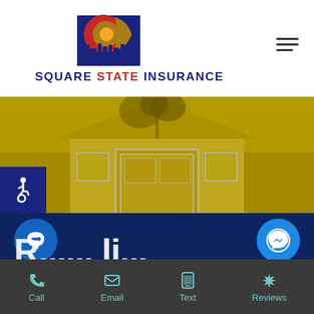[Figure (logo): Square State Insurance logo — Colorado flag C symbol in navy/red/yellow above city skyline silhouette]
SQUARE STATE INSURANCE
[Figure (photo): House front door with yellow/sepia tint overlay — residential home exterior]
[Figure (infographic): Accessibility icon (wheelchair symbol) in white on dark navy blue square background]
[Figure (infographic): Chat bar with two circular buttons: dark blue circle with speech/reply icon on left, bright blue Facebook Messenger icon on right, on dark navy background with partial large white text below]
Call
Email
Text
Reviews